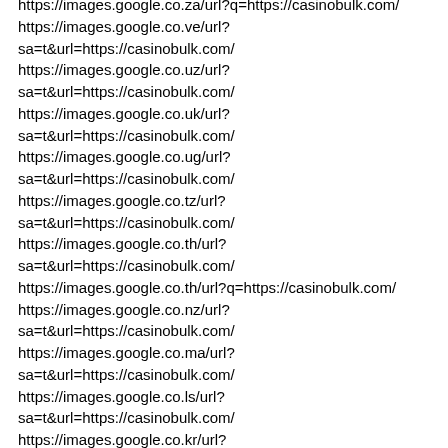https://images.google.co.za/url?q=https://casinobulk.com/
https://images.google.co.ve/url?
sa=t&url=https://casinobulk.com/
https://images.google.co.uz/url?
sa=t&url=https://casinobulk.com/
https://images.google.co.uk/url?
sa=t&url=https://casinobulk.com/
https://images.google.co.ug/url?
sa=t&url=https://casinobulk.com/
https://images.google.co.tz/url?
sa=t&url=https://casinobulk.com/
https://images.google.co.th/url?
sa=t&url=https://casinobulk.com/
https://images.google.co.th/url?q=https://casinobulk.com/
https://images.google.co.nz/url?
sa=t&url=https://casinobulk.com/
https://images.google.co.ma/url?
sa=t&url=https://casinobulk.com/
https://images.google.co.ls/url?
sa=t&url=https://casinobulk.com/
https://images.google.co.kr/url?